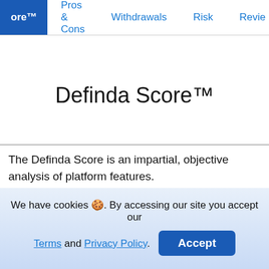ore™  Pros & Cons  Withdrawals  Risk  Revie
Definda Score™
The Definda Score is an impartial, objective analysis of platform features.
[Figure (logo): CoinLoan logo with gear icon and blue text]
[Figure (logo): Kraken logo in purple with stylized M icon]
Savings Rates   Savings Rates
We have cookies 🍪. By accessing our site you accept our Terms and Privacy Policy.